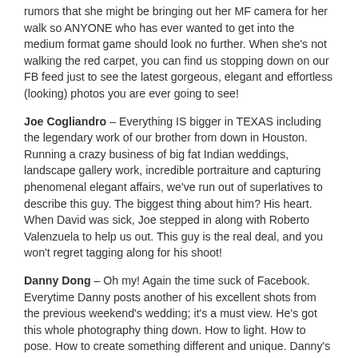rumors that she might be bringing out her MF camera for her walk so ANYONE who has ever wanted to get into the medium format game should look no further. When she's not walking the red carpet, you can find us stopping down on our FB feed just to see the latest gorgeous, elegant and effortless (looking) photos you are ever going to see!
Joe Cogliandro – Everything IS bigger in TEXAS including the legendary work of our brother from down in Houston. Running a crazy business of big fat Indian weddings, landscape gallery work, incredible portraiture and capturing phenomenal elegant affairs, we've run out of superlatives to describe this guy. The biggest thing about him? His heart. When David was sick, Joe stepped in along with Roberto Valenzuela to help us out. This guy is the real deal, and you won't regret tagging along for his shoot!
Danny Dong – Oh my! Again the time suck of Facebook. Everytime Danny posts another of his excellent shots from the previous weekend's wedding; it's a must view. He's got this whole photography thing down. How to light. How to pose. How to create something different and unique. Danny's photos are some of the one's we most look forward. Top it off with the fact that he's a great guy, and you've got the winning